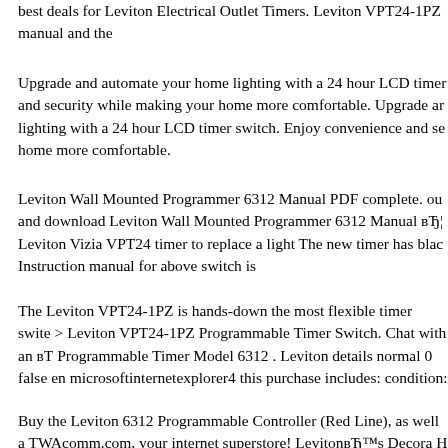best deals for Leviton Electrical Outlet Timers. Leviton VPT24-1PZ manual and the
Upgrade and automate your home lighting with a 24 hour LCD timer and security while making your home more comfortable. Upgrade and lighting with a 24 hour LCD timer switch. Enjoy convenience and se home more comfortable.
Leviton Wall Mounted Programmer 6312 Manual PDF complete. our and download Leviton Wall Mounted Programmer 6312 Manual вЂ¦ Leviton Vizia VPT24 timer to replace a light The new timer has blac Instruction manual for above switch is
The Leviton VPT24-1PZ is hands-down the most flexible timer swite > Leviton VPT24-1PZ Programmable Timer Switch. Chat with an вТ Programmable Timer Model 6312 . Leviton details normal 0 false en microsoftinternetexplorer4 this purchase includes: condition:
Buy the Leviton 6312 Programmable Controller (Red Line), as well a TWAcomm.com, your internet superstore! LevitonвЂ™s Decora H